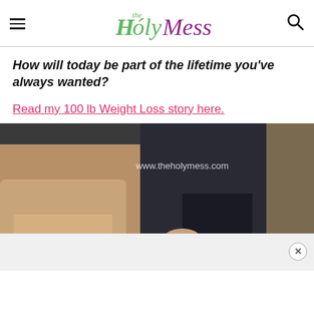The Holy Mess (logo with hamburger menu and search icon)
How will today be part of the lifetime you've always wanted?
Read my 100 lb Weight Loss story here.
[Figure (photo): Two people standing close together, one wearing a beige knit sweater, with text overlay 'www.theholymess.com'. A purple scroll-to-top button is visible in the lower right corner.]